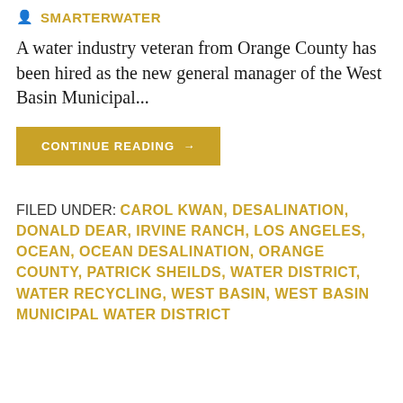SMARTERWATER
A water industry veteran from Orange County has been hired as the new general manager of the West Basin Municipal...
CONTINUE READING →
FILED UNDER: CAROL KWAN, DESALINATION, DONALD DEAR, IRVINE RANCH, LOS ANGELES, OCEAN, OCEAN DESALINATION, ORANGE COUNTY, PATRICK SHEILDS, WATER DISTRICT, WATER RECYCLING, WEST BASIN, WEST BASIN MUNICIPAL WATER DISTRICT